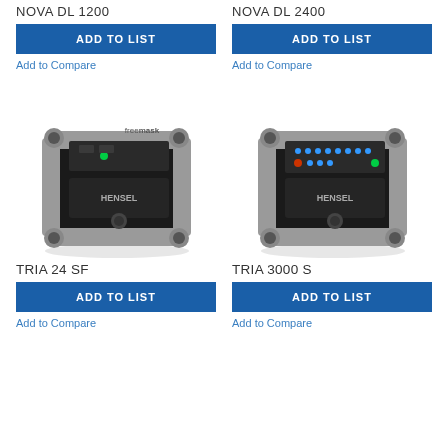NOVA DL 1200
NOVA DL 2400
ADD TO LIST
ADD TO LIST
Add to Compare
Add to Compare
[Figure (photo): Hensel TRIA 24 SF studio flash unit with freemask watermark, compact box-shaped design with silver corners and wheels]
[Figure (photo): Hensel TRIA 3000 S studio flash unit, compact box-shaped design with silver corners and blue LED indicators]
TRIA 24 SF
TRIA 3000 S
ADD TO LIST
ADD TO LIST
Add to Compare
Add to Compare